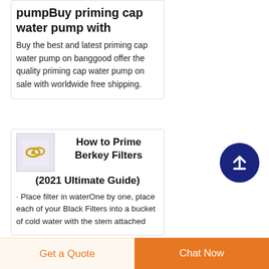pumpBuy priming cap water pump with
Buy the best and latest priming cap water pump on banggood offer the quality priming cap water pump on sale with worldwide free shipping.
[Figure (photo): Thumbnail image of priming cap / filter rings on a light background]
How to Prime Berkey Filters (2021 Ultimate Guide)
· Place filter in waterOne by one, place each of your Black Filters into a bucket of cold water with the stem attached
[Figure (other): Dark navy blue circular scroll-to-top button with an upward arrow icon]
Get a Quote
Chat Now